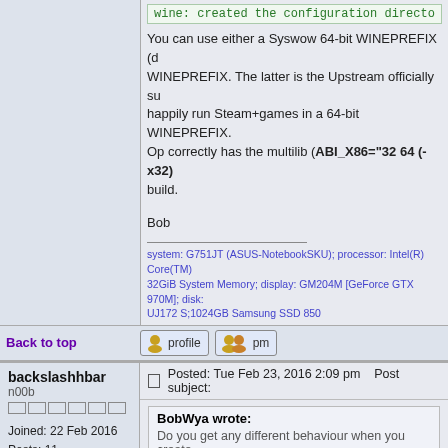wine: created the configuration directo
You can use either a Syswow 64-bit WINEPREFIX (d WINEPREFIX. The latter is the Upstream officially su happily run Steam+games in a 64-bit WINEPREFIX. Op correctly has the multilib (ABI_X86="32 64 (-x32) build.
Bob
system: G751JT (ASUS-NotebookSKU); processor: Intel(R) Core(TM) 32GiB System Memory; display: GM204M [GeForce GTX 970M]; disk: UJ172 S;1024GB Samsung SSD 850
Back to top
profile  pm
backslashhbar
n00b
Joined: 22 Feb 2016
Posts: 11
Posted: Tue Feb 23, 2016 2:09 pm    Post subject:
BobWya wrote:
Do you get any different behaviour when you create
I tried as you told me. And as it turned out, nothing di
When it comes to libraries linking, I have the same ou know what does that mean.